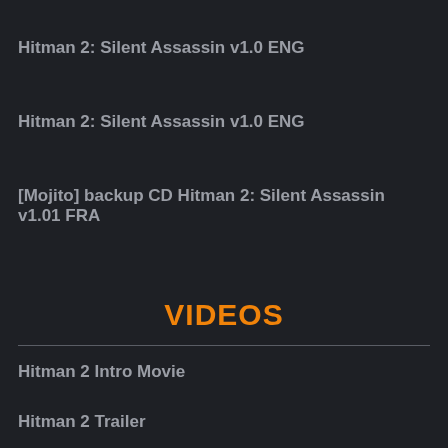Hitman 2: Silent Assassin v1.0 ENG
Hitman 2: Silent Assassin v1.0 ENG
[Mojito] backup CD Hitman 2: Silent Assassin v1.01 FRA
VIDEOS
Hitman 2 Intro Movie
Hitman 2 Trailer